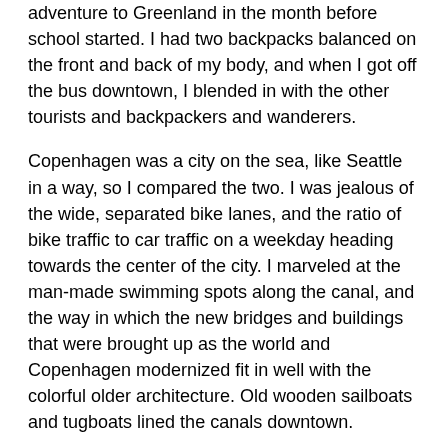adventure to Greenland in the month before school started. I had two backpacks balanced on the front and back of my body, and when I got off the bus downtown, I blended in with the other tourists and backpackers and wanderers.
Copenhagen was a city on the sea, like Seattle in a way, so I compared the two. I was jealous of the wide, separated bike lanes, and the ratio of bike traffic to car traffic on a weekday heading towards the center of the city. I marveled at the man-made swimming spots along the canal, and the way in which the new bridges and buildings that were brought up as the world and Copenhagen modernized fit in well with the colorful older architecture. Old wooden sailboats and tugboats lined the canals downtown.
The group accumulated at the hostel in the afternoon, and we wandered around the city in search of food. One closed church and two parks later, jet lag took its toll. I was excited to go someplace wilder in the next few days.
Aug 16: We began the morning with a walk to the Danish Arctic institute. There, we were greeted by Astrid and Frank, two researchers who focus on projects in Greenland and the North Atlantic. The conversation was certainly not lacking as we discussed